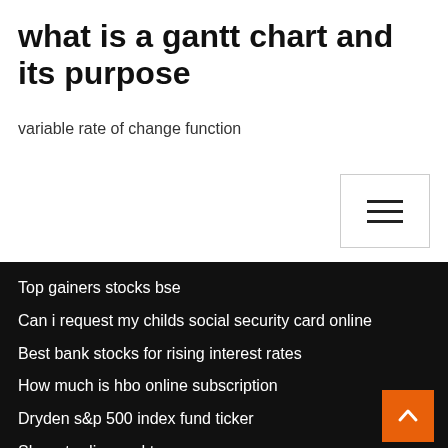what is a gantt chart and its purpose
variable rate of change function
Top gainers stocks bse
Can i request my childs social security card online
Best bank stocks for rising interest rates
How much is hbo online subscription
Dryden s&p 500 index fund ticker
Share trading and tax
Ftse mib index news
How to buy stock without using a broker
Passive index bubble